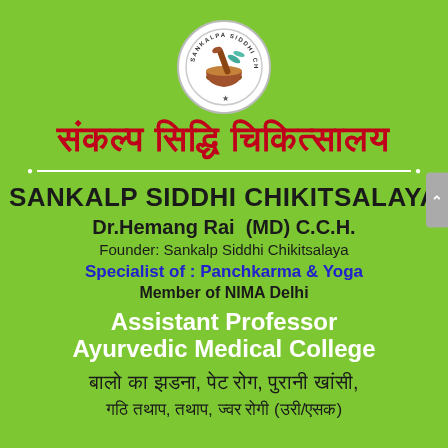[Figure (logo): Circular logo for Sankalpa Siddhi Chikitsalaya with mortar and pestle icon and text around the border]
संकल्प सिद्धि चिकित्सालय
SANKALP SIDDHI CHIKITSALAYA
Dr.Hemang Rai  (MD) C.C.H.
Founder: Sankalp Siddhi Chikitsalaya
Specialist of : Panchkarma & Yoga
Member of NIMA Delhi
Assistant Professor
Ayurvedic Medical College
बालो का झडना, पेट रोग, पुरानी खांसी,
गठि तथाप, तथाप, ज्वर रोगी (उरी/एसक)